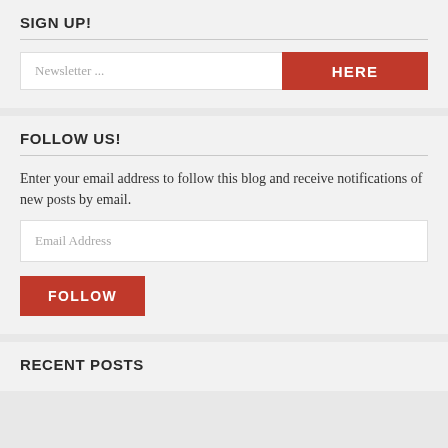SIGN UP!
[Figure (screenshot): Newsletter signup widget with text input placeholder 'Newsletter ...' and a red 'HERE' button]
FOLLOW US!
Enter your email address to follow this blog and receive notifications of new posts by email.
[Figure (screenshot): Email address input field with placeholder 'Email Address' and a red 'FOLLOW' button below]
RECENT POSTS